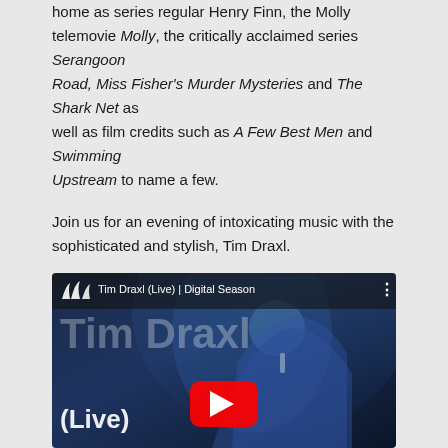home as series regular Henry Finn, the Molly telemovie Molly, the critically acclaimed series Serangoon Road, Miss Fisher's Murder Mysteries and The Shark Net as well as film credits such as A Few Best Men and Swimming Upstream to name a few.
Join us for an evening of intoxicating music with the sophisticated and stylish, Tim Draxl.
Band
Daniel Edmonds - Music Director/Piano
Nick Sinclair - Bass
Andy Davies - Drums
[Figure (screenshot): YouTube video thumbnail showing Tim Draxl (Live) | Digital Season with a man singing into a microphone against a blue stage light background. Sydney Opera House logo visible. Large play button in center.]